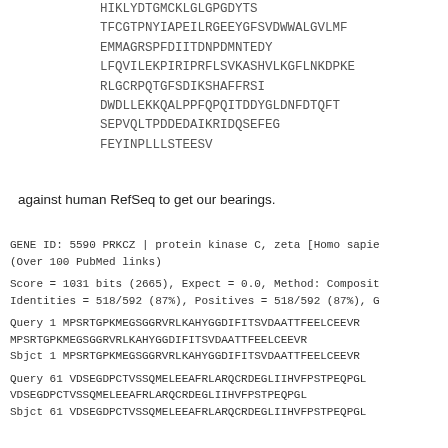HIKLYDTGMCKLGLGPGDYTS
TFCGTPNYIAPEILRGEEYGFSVDWWALGVLMF
EMMAGRSPFDIITDNPDMNTEDY
LFQVILEKPIRIPRFLSVKASHVLKGFLNKDPKE
RLGCRPQTGFSDIKSHAFFRSI
DWDLLEKKQALPPFQPQITDDYGLDNFDTQFT
SEPVQLTPDDEDAIKRIDQSEFEG
FEYINPLLLSTEESV
against human RefSeq to get our bearings.
GENE ID: 5590 PRKCZ | protein kinase C, zeta [Homo sapie
(Over 100 PubMed links)

Score = 1031 bits (2665),  Expect = 0.0, Method: Composi
Identities = 518/592 (87%), Positives = 518/592 (87%), G

Query  1   MPSRTGPKMEGSGGRVRLKAHYGGDIFITSVDAATTFEELCEEVR
           MPSRTGPKMEGSGGRVRLKAHYGGDIFITSVDAATTFEELCEEVR
Sbjct  1   MPSRTGPKMEGSGGRVRLKAHYGGDIFITSVDAATTFEELCEEVR

Query  61  VDSEGDPCTVSSQMELEEAFRLARQCRDEGLIIHVFPSTPEQPGL
           VDSEGDPCTVSSQMELEEAFRLARQCRDEGLIIHVFPSTPEQPGL
Sbjct  61  VDSEGDPCTVSSQMELEEAFRLARQCRDEGLIIHVFPSTPEQPGL